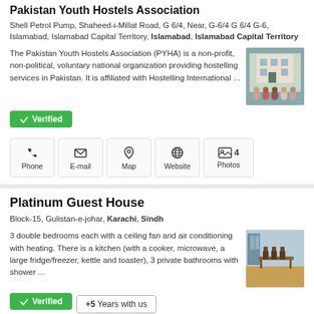Pakistan Youth Hostels Association
Shell Petrol Pump, Shaheed-i-Millat Road, G 6/4, Near, G-6/4 G 6/4 G-6, Islamabad, Islamabad Capital Territory, Islamabad, Islamabad Capital Territory
The Pakistan Youth Hostels Association (PYHA) is a non-profit, non-political, voluntary national organization providing hostelling services in Pakistan. It is affiliated with Hostelling International ...
[Figure (photo): Group photo of people in front of a building]
Verified
Phone | E-mail | Map | Website | 4 Photos
Platinum Guest House
Block-15, Gulistan-e-johar, Karachi, Sindh
3 double bedrooms each with a ceiling fan and air conditioning with heating. There is a kitchen (with a cooker, microwave, a large fridge/freezer, kettle and toaster), 3 private bathrooms with shower ...
[Figure (photo): Interior dining room with table and chairs]
Verified | +5 Years with us